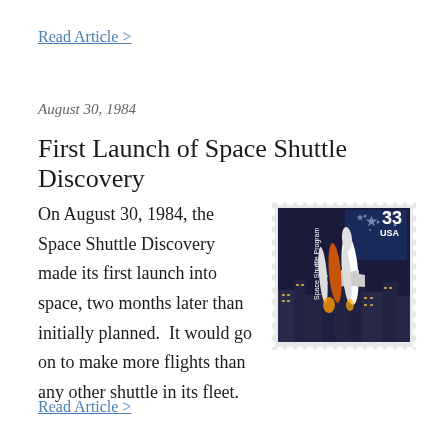Read Article >
August 30, 1984
First Launch of Space Shuttle Discovery
[Figure (illustration): A 33-cent USA postage stamp depicting the Space Shuttle Program, showing the space shuttle on a launch pad with a night cityscape and American flag stars in the background.]
On August 30, 1984, the Space Shuttle Discovery made its first launch into space, two months later than initially planned.  It would go on to make more flights than any other shuttle in its fleet.
Read Article >